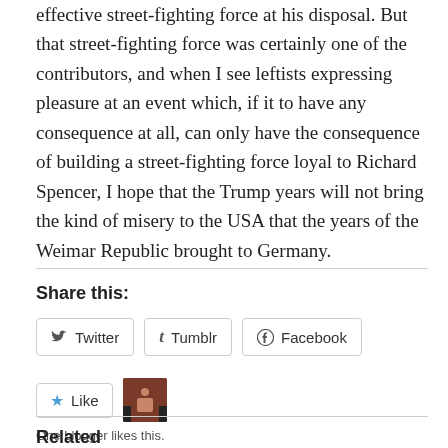effective street-fighting force at his disposal. But that street-fighting force was certainly one of the contributors, and when I see leftists expressing pleasure at an event which, if it to have any consequence at all, can only have the consequence of building a street-fighting force loyal to Richard Spencer, I hope that the Trump years will not bring the kind of misery to the USA that the years of the Weimar Republic brought to Germany.
Share this:
[Figure (screenshot): Social sharing buttons row: Twitter, Tumblr, Facebook]
[Figure (screenshot): Like button with star icon and a blogger avatar thumbnail. Text below: One blogger likes this.]
One blogger likes this.
Related